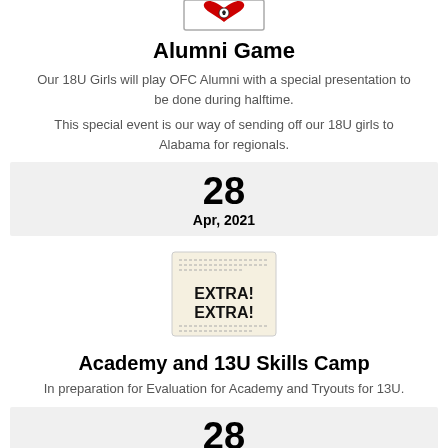[Figure (logo): Heart with soccer ball logo at top of page]
Alumni Game
Our 18U Girls will play OFC Alumni with a special presentation to be done during halftime.
This special event is our way of sending off our 18U girls to Alabama for regionals.
28
Apr, 2021
[Figure (illustration): Newspaper graphic with EXTRA! EXTRA! text]
Academy and 13U Skills Camp
In preparation for Evaluation for Academy and Tryouts for 13U.
28
Apr, 2021
[Figure (logo): Red circular exciting news stamp logo at bottom]